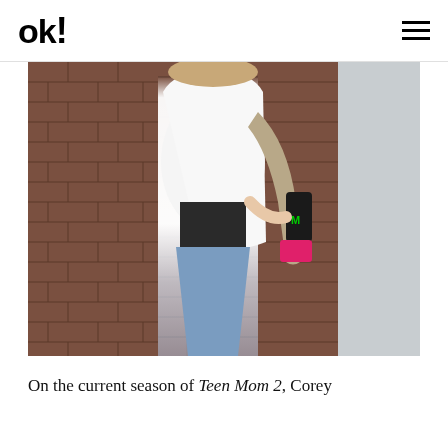OK!
[Figure (photo): A woman wearing a white long-sleeve fitted top, black undershirt, and light blue jeans walking past a brick wall. She carries a tan tote bag over one shoulder and holds a Monster energy drink can and a pink phone case in one hand. The photo is cropped to show her torso and legs.]
On the current season of Teen Mom 2, Corey